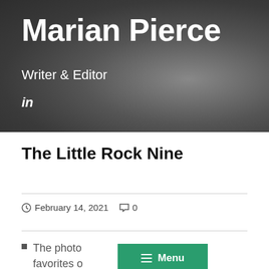Marian Pierce
Writer & Editor
in
The Little Rock Nine
February 14, 2021  0
The photo  e of my favorites o  Rock Nine.
[Figure (other): Green Menu button overlay with hamburger icon and 'Menu' label]